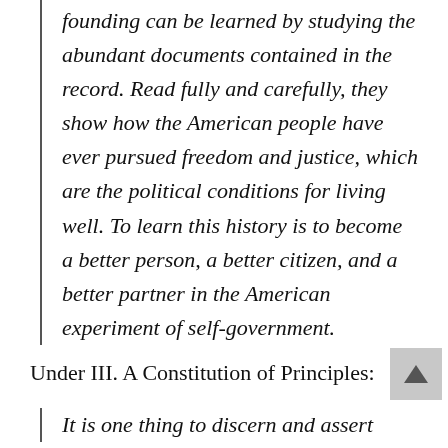founding can be learned by studying the abundant documents contained in the record. Read fully and carefully, they show how the American people have ever pursued freedom and justice, which are the political conditions for living well. To learn this history is to become a better person, a better citizen, and a better partner in the American experiment of self-government.
Under III. A Constitution of Principles:
It is one thing to discern and assert